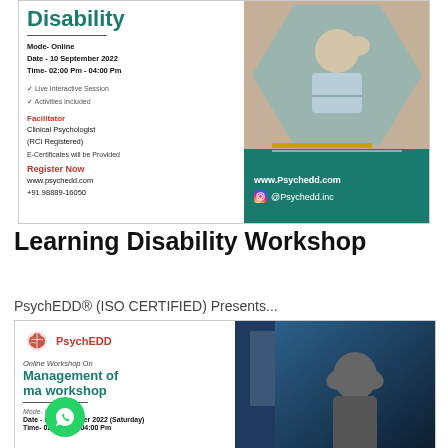[Figure (infographic): PsychEDD Learning Disability Workshop flyer (top). Dark teal background on right with hexagonal photo of boy at desk. Left side shows workshop details: Mode Online, Date 10 September 2022, Time 02:00 Pm - 04:00 Pm, Live Interactive Session, Activities Included, Facilitator: Clinical Psychologist (RCI Registered), E-Certificates will be Provided, Register Now www.psychedd.com +91 98889-16050. Bottom right shows www.Psychedd.com and @Psychedd.inc]
Learning Disability Workshop
PsychEDD® (ISO CERTIFIED) Presents...
[Figure (infographic): PsychEDD Online Workshop On Management of Trauma workshop flyer (bottom). Left side shows PsychEDD logo, workshop title, and details: Mode Online, Date 03 September 2022 (Saturday), Time 02:00 Pm - 04:00 Pm. Right side shows dark blue background with person with head in hands. Green WhatsApp button overlaid.]